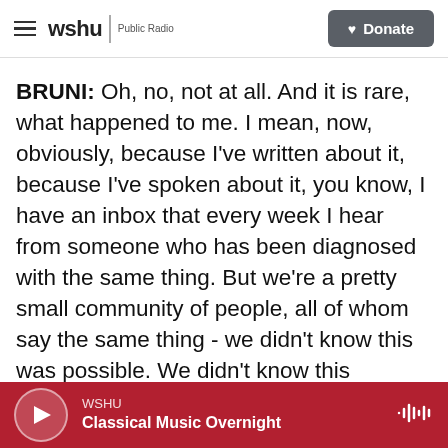wshu | Public Radio  [Donate button]
BRUNI: Oh, no, not at all. And it is rare, what happened to me. I mean, now, obviously, because I've written about it, because I've spoken about it, you know, I have an inbox that every week I hear from someone who has been diagnosed with the same thing. But we're a pretty small community of people, all of whom say the same thing - we didn't know this was possible. We didn't know this existed. You learn quickly, you know? And I, as a reporter, immediately launched on a sort of medical education of myself and talked to the doctors, like the one you quoted, because I was picking up the
WSHU  Classical Music Overnight